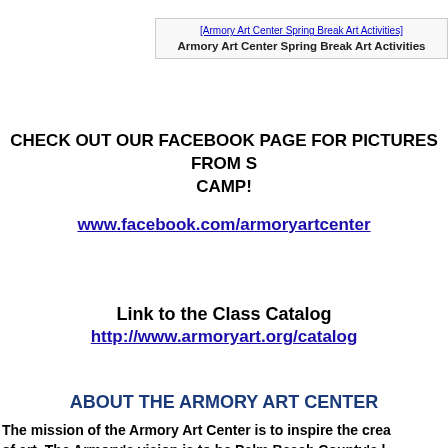[Figure (photo): Armory Art Center Spring Break Art Activities image placeholder with alt text link]
Armory Art Center Spring Break Art Activities
CHECK OUT OUR FACEBOOK PAGE FOR PICTURES FROM S... CAMP!
www.facebook.com/armoryartcenter
Link to the Class Catalog
http://www.armoryart.org/catalog
ABOUT THE ARMORY ART CENTER
The mission of the Armory Art Center is to inspire the crea... of art. The Armory's vision is to be Palm Beach County's l... education and exhibition center. Housed in an historic art